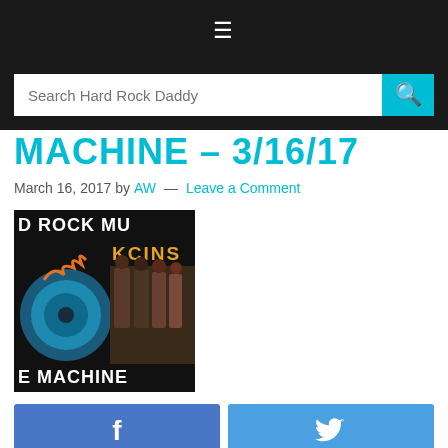≡
Search Hard Rock Daddy
MACHINE – 3/16/17
March 16, 2017 by AW — Leave a Comment
[Figure (photo): Hard Rock Music Time Machine album/band collage image with text 'D ROCK MU', 'KCINS', 'E MACHINE' on dark background]
f (Facebook share button)
🐦 (Twitter share button)
Hard Rock Music Time Machine – 3/16/17 Each Thursday,